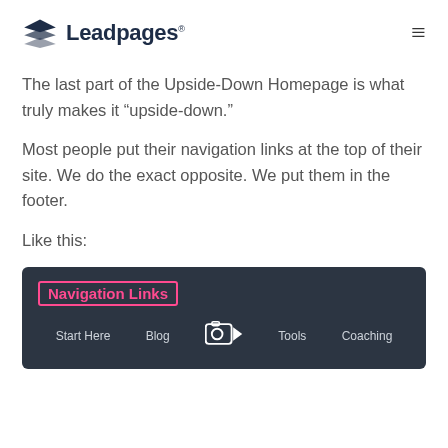Leadpages
The last part of the Upside-Down Homepage is what truly makes it “upside-down.”
Most people put their navigation links at the top of their site. We do the exact opposite. We put them in the footer.
Like this:
[Figure (screenshot): Dark footer bar showing Navigation Links label in pink, with nav items: Start Here, Blog, camera icon, Tools, Coaching]